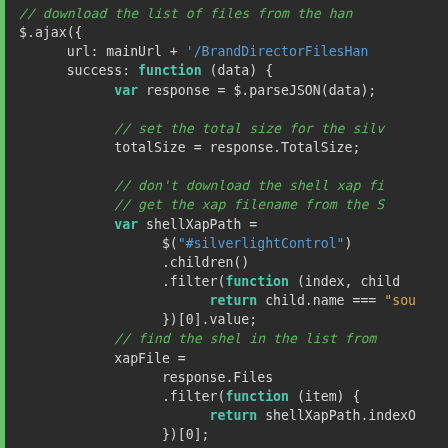[Figure (screenshot): Code editor screenshot showing JavaScript code with syntax highlighting. Green sidebar border, dark background. Code shows $.ajax() call with success and error handlers, including variable declarations, jQuery selectors, filter functions, and download logic.]